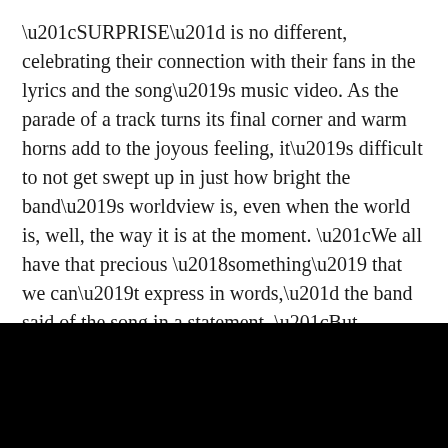“SURPRISE” is no different, celebrating their connection with their fans in the lyrics and the song’s music video. As the parade of a track turns its final corner and warm horns add to the joyous feeling, it’s difficult to not get swept up in just how bright the band’s worldview is, even when the world is, well, the way it is at the moment. “We all have that precious ‘something’ that we can’t express in words,” the band said of the song in a statement. “But sometimes those things happen to make it out as words, and we want to feel and love that ‘surprise.’ Those become the surprises of our lives, and I become a brand new me. That’s what we had in mind when we wrote ‘SURPRISE.’” —Elise Soutar
[Figure (photo): Black rectangular image area at the bottom of the page]